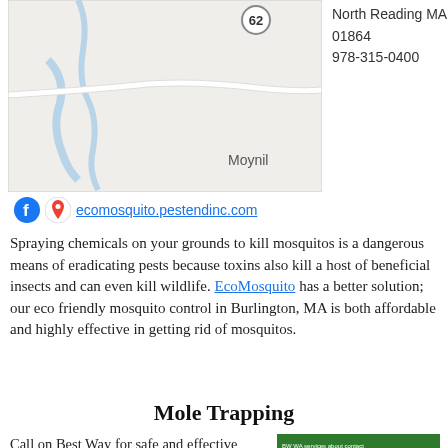[Figure (map): Google Maps screenshot showing road map around North Reading MA area with route 62 visible and Moynihan label]
North Reading MA 01864
978-315-0400
ecomosquito.pestendinc.com
Spraying chemicals on your grounds to kill mosquitos is a dangerous means of eradicating pests because toxins also kill a host of beneficial insects and can even kill wildlife. EcoMosquito has a better solution; our eco friendly mosquito control in Burlington, MA is both affordable and highly effective in getting rid of mosquitos.
Mole Trapping
Call on Best Way for safe and effective mole trapping and mole removal services that deal with the problem for good. If you've tried DIY mole traps and solutions without success, there's an easier way to deal with them; one call to Best Way at 616-836-4255 and your mole problems will soon be over. Best Way Animal Removal
[Figure (screenshot): Screenshot of wildlife animal control website showing raccoons and phone number 616-836-4255]
Local Pest Control